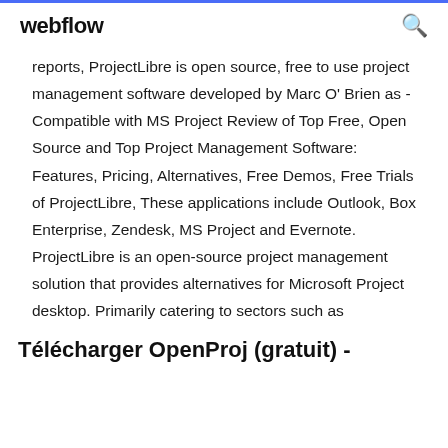webflow
reports, ProjectLibre is open source, free to use project management software developed by Marc O' Brien as -Compatible with MS Project Review of Top Free, Open Source and Top Project Management Software: Features, Pricing, Alternatives, Free Demos, Free Trials of ProjectLibre, These applications include Outlook, Box Enterprise, Zendesk, MS Project and Evernote. ProjectLibre is an open-source project management solution that provides alternatives for Microsoft Project desktop. Primarily catering to sectors such as
Télécharger OpenProj (gratuit) -